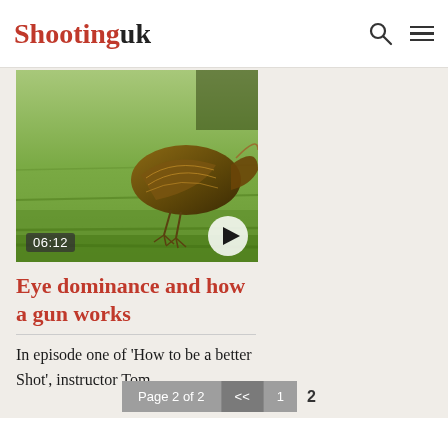Shootinguk
[Figure (photo): A pheasant bird on green grass with a video thumbnail overlay showing play button and timestamp 06:12]
Eye dominance and how a gun works
In episode one of ‘How to be a better Shot’, instructor Tom...
Page 2 of 2  <<  1  2